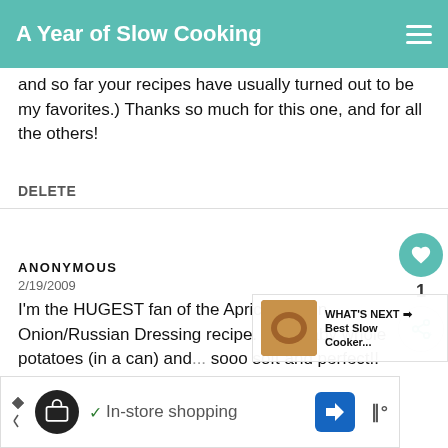A Year of Slow Cooking
and so far your recipes have usually turned out to be my favorites.) Thanks so much for this one, and for all the others!
DELETE
ANONYMOUS
2/19/2009
I'm the HUGEST fan of the Apricot/Lipton Onion/Russian Dressing recipe. Th... baby whole potatoes (in a can) and... sooo soft and perfect!!
[Figure (screenshot): What's Next panel showing thumbnail and text 'Best Slow Cooker...']
[Figure (screenshot): Advertisement banner with in-store shopping icons]